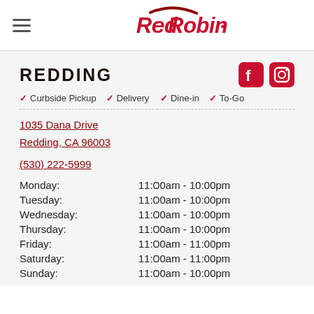Red Robin
REDDING
Curbside Pickup
Delivery
Dine-in
To-Go
1035 Dana Drive
Redding, CA 96003
(530) 222-5999
| Day | Hours |
| --- | --- |
| Monday: | 11:00am - 10:00pm |
| Tuesday: | 11:00am - 10:00pm |
| Wednesday: | 11:00am - 10:00pm |
| Thursday: | 11:00am - 10:00pm |
| Friday: | 11:00am - 11:00pm |
| Saturday: | 11:00am - 11:00pm |
| Sunday: | 11:00am - 10:00pm |